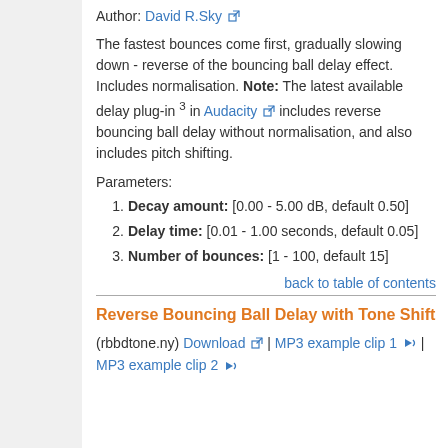Author: David R.Sky [external link]
The fastest bounces come first, gradually slowing down - reverse of the bouncing ball delay effect. Includes normalisation. Note: The latest available delay plug-in 3 in Audacity [external link] includes reverse bouncing ball delay without normalisation, and also includes pitch shifting.
Parameters:
1. Decay amount: [0.00 - 5.00 dB, default 0.50]
2. Delay time: [0.01 - 1.00 seconds, default 0.05]
3. Number of bounces: [1 - 100, default 15]
back to table of contents
Reverse Bouncing Ball Delay with Tone Shift
(rbbdtone.ny) Download [external link] | MP3 example clip 1 [audio] | MP3 example clip 2 [audio]